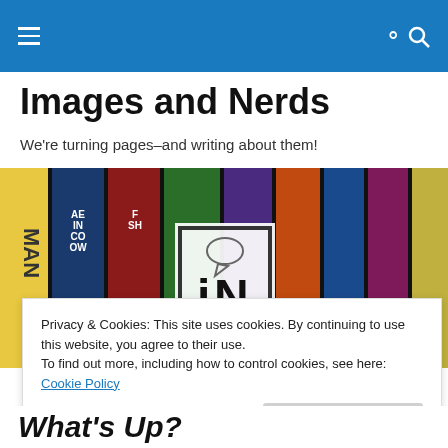[hamburger menu icon] [search icon]
Images and Nerds
We're turning pages–and writing about them!
[Figure (photo): Row of comic book spines on a shelf with an 'IN' logo overlay in the center]
Privacy & Cookies: This site uses cookies. By continuing to use this website, you agree to their use.
To find out more, including how to control cookies, see here: Cookie Policy
Close and accept
What's Up?